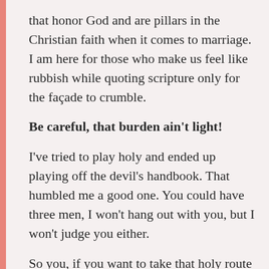that honor God and are pillars in the Christian faith when it comes to marriage. I am here for those who make us feel like rubbish while quoting scripture only for the façade to crumble.
Be careful, that burden ain't light!
I've tried to play holy and ended up playing off the devil's handbook. That humbled me a good one. You could have three men, I won't hang out with you, but I won't judge you either.
So you, if you want to take that holy route and rub it in our faces during